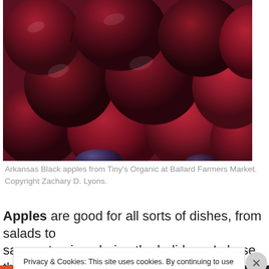[Figure (photo): Close-up photograph of red and dark purple Arkansas Black apples piled together, with a hint of blue in the background.]
Arkansas Black apples from Tiny's Organic at Ballard Farmers Market. Copyright Zachary D. Lyons.
Apples are good for all sorts of dishes, from salads to sauces to pies, during the holidays. I chose this particular
Privacy & Cookies: This site uses cookies. By continuing to use this website, you agree to their use.
To find out more, including how to control cookies, see here: Cookie Policy